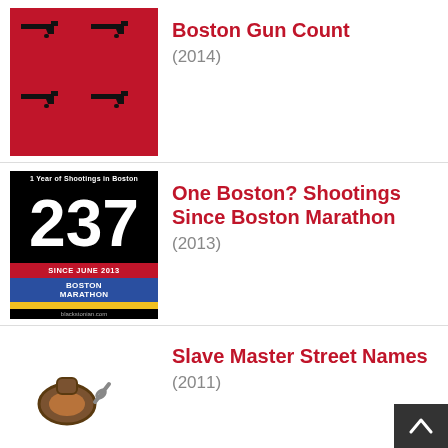Boston Gun Count (2014)
One Boston? Shootings Since Boston Marathon (2013)
Slave Master Street Names (2011)
Blackstonian Media
[Figure (logo): Blackstonian Radio logo - THE BLACK BOSTON 411... 24-7]
[Figure (logo): Blackstonian T.V. logo - THE BLACK BOSTON 411... 24-7]